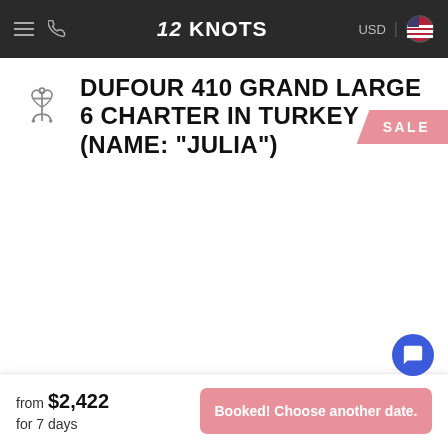12 KNOTS — USD
DUFOUR 410 GRAND LARGE 6 CHARTER IN TURKEY (NAME: "JULIA")
SALE
from $2,422
for 7 days
Booked! Choose another date.